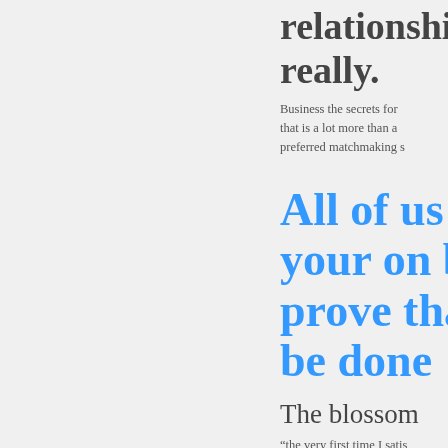relationships really.
Business the secrets for that is a lot more than a preferred matchmaking s
All of us your on b prove tha be done
The blossom
“the very first time I satis
. I contributed along my all-night speaking, and it go out together with goo
The nice cu